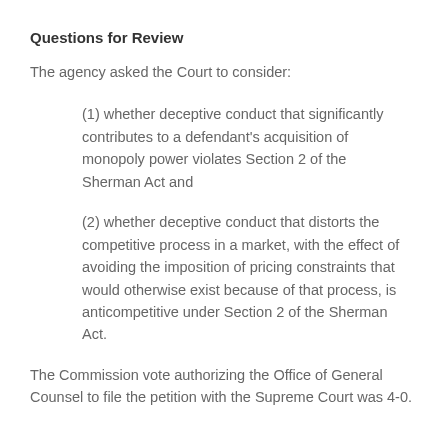Questions for Review
The agency asked the Court to consider:
(1) whether deceptive conduct that significantly contributes to a defendant's acquisition of monopoly power violates Section 2 of the Sherman Act and
(2) whether deceptive conduct that distorts the competitive process in a market, with the effect of avoiding the imposition of pricing constraints that would otherwise exist because of that process, is anticompetitive under Section 2 of the Sherman Act.
The Commission vote authorizing the Office of General Counsel to file the petition with the Supreme Court was 4-0.